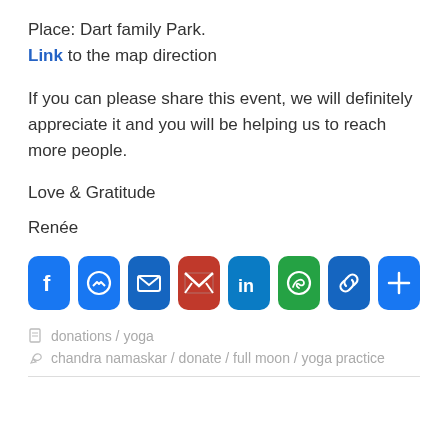Place: Dart family Park.
Link to the map direction
If you can please share this event, we will definitely appreciate it and you will be helping us to reach more people.
Love & Gratitude
Renée
[Figure (infographic): Row of social share icon buttons: Facebook, Messenger, Email, Gmail, LinkedIn, WhatsApp, Link, More]
donations / yoga
chandra namaskar / donate / full moon / yoga practice